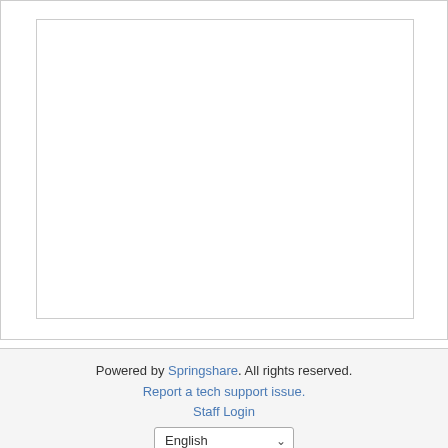[Figure (other): Empty white content area with a bordered inner box, typical of a web page screenshot with a blank iframe or content region]
Powered by Springshare. All rights reserved. Report a tech support issue. Staff Login English
Powered by Springshare. All rights reserved.
Report a tech support issue.
Staff Login
English